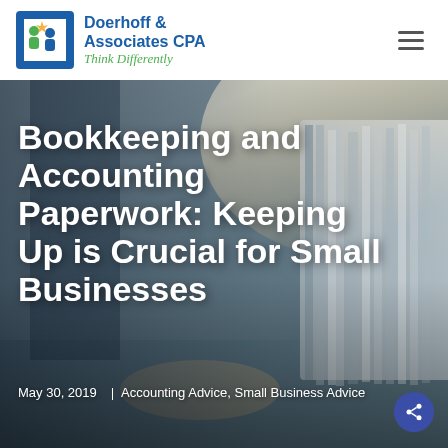Doerhoff & Associates CPA — Think Differently
[Figure (photo): Hero image of business person writing on paperwork with large stacks of binders/files in background, warm backlit office scene. Large bold white text overlay reads: Bookkeeping and Accounting Paperwork: Keeping Up is Crucial for Small Businesses. Date: May 30, 2019. Categories: Accounting Advice, Small Business Advice.]
Bookkeeping and Accounting Paperwork: Keeping Up is Crucial for Small Businesses
May 30, 2019 | Accounting Advice, Small Business Advice